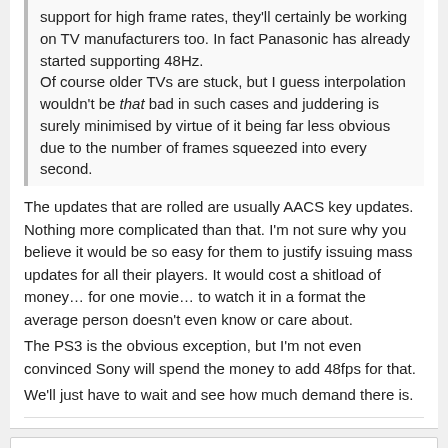support for high frame rates, they'll certainly be working on TV manufacturers too. In fact Panasonic has already started supporting 48Hz. Of course older TVs are stuck, but I guess interpolation wouldn't be that bad in such cases and juddering is surely minimised by virtue of it being far less obvious due to the number of frames squeezed into every second.
The updates that are rolled are usually AACS key updates. Nothing more complicated than that. I'm not sure why you believe it would be so easy for them to justify issuing mass updates for all their players. It would cost a shitload of money... for one movie... to watch it in a format the average person doesn't even know or care about. The PS3 is the obvious exception, but I'm not even convinced Sony will spend the money to add 48fps for that. We'll just have to wait and see how much demand there is.
Thrik
Posted January 9, 2013
On 1/9/2013 at 4:29 PM, ThunderPeel2001 said: